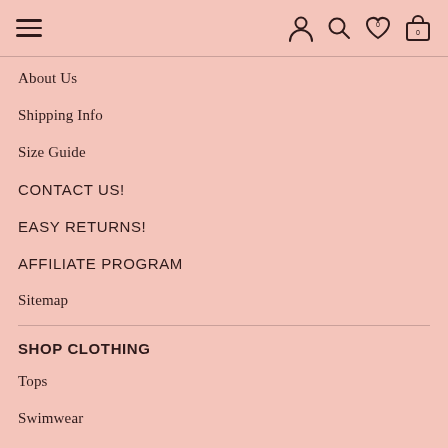Navigation header with hamburger menu, user, search, wishlist (0), and cart (0) icons
About Us
Shipping Info
Size Guide
CONTACT US!
EASY RETURNS!
AFFILIATE PROGRAM
Sitemap
SHOP CLOTHING
Tops
Swimwear
Dresses